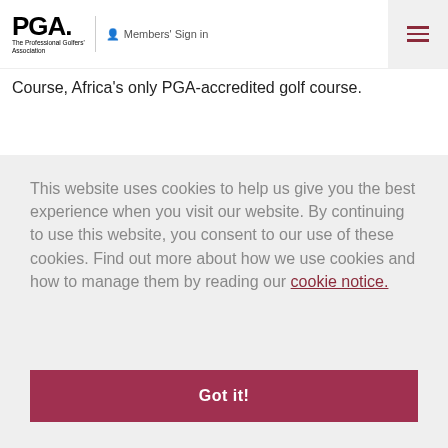PGA The Professional Golfers' Association | Members' Sign in
Course, Africa's only PGA-accredited golf course.
This website uses cookies to help us give you the best experience when you visit our website. By continuing to use this website, you consent to our use of these cookies. Find out more about how we use cookies and how to manage them by reading our cookie notice.
Got it!